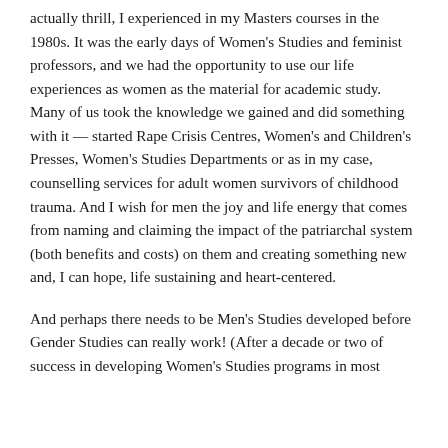actually thrill, I experienced in my Masters courses in the 1980s. It was the early days of Women's Studies and feminist professors, and we had the opportunity to use our life experiences as women as the material for academic study. Many of us took the knowledge we gained and did something with it — started Rape Crisis Centres, Women's and Children's Presses, Women's Studies Departments or as in my case, counselling services for adult women survivors of childhood trauma. And I wish for men the joy and life energy that comes from naming and claiming the impact of the patriarchal system (both benefits and costs) on them and creating something new and, I can hope, life sustaining and heart-centered.
And perhaps there needs to be Men's Studies developed before Gender Studies can really work! (After a decade or two of success in developing Women's Studies programs in most